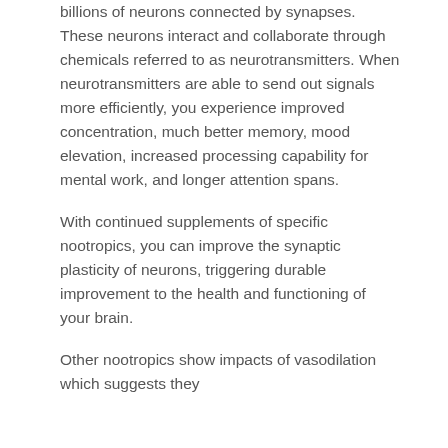billions of neurons connected by synapses. These neurons interact and collaborate through chemicals referred to as neurotransmitters. When neurotransmitters are able to send out signals more efficiently, you experience improved concentration, much better memory, mood elevation, increased processing capability for mental work, and longer attention spans.
With continued supplements of specific nootropics, you can improve the synaptic plasticity of neurons, triggering durable improvement to the health and functioning of your brain.
Other nootropics show impacts of vasodilation which suggests they